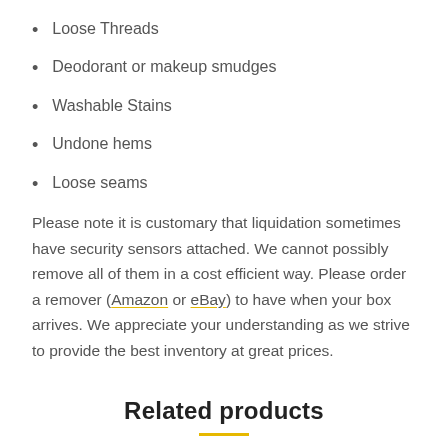Loose Threads
Deodorant or makeup smudges
Washable Stains
Undone hems
Loose seams
Please note it is customary that liquidation sometimes have security sensors attached. We cannot possibly remove all of them in a cost efficient way. Please order a remover (Amazon or eBay) to have when your box arrives. We appreciate your understanding as we strive to provide the best inventory at great prices.
Related products